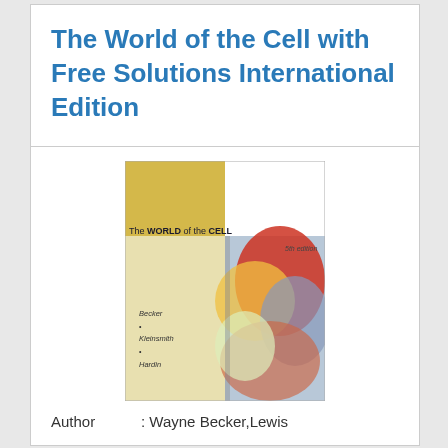The World of the Cell with Free Solutions International Edition
[Figure (photo): Book cover of 'The World of the Cell' by Becker, Kleinsmith, Hardin. Shows a yellow and cream colored cover with the book title 'The WORLD of the CELL' and a colorful artwork image on the right side. Authors listed as Becker, Kleinsmith, Hardin.]
Author      : Wayne Becker,Lewis